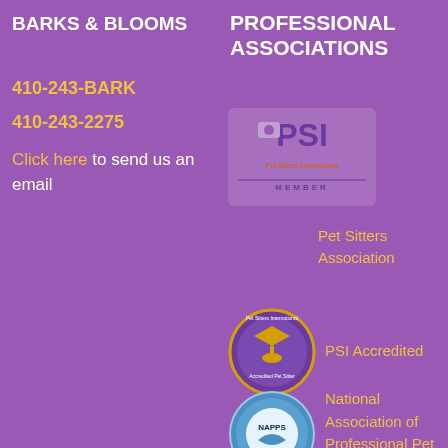BARKS & BLOOMS
PROFESSIONAL ASSOCIATIONS
410-243-BARK
410-243-2275
Click here to send us an email
[Figure (logo): PSI Pet Sitters International Member logo]
Pet Sitters Association
[Figure (logo): PSI Accredited Pet Sitter circular badge logo]
PSI Accredited
[Figure (logo): NAPPS National Association of Professional Pet Sitters certified logo]
National Association of Professional Pet Sitters